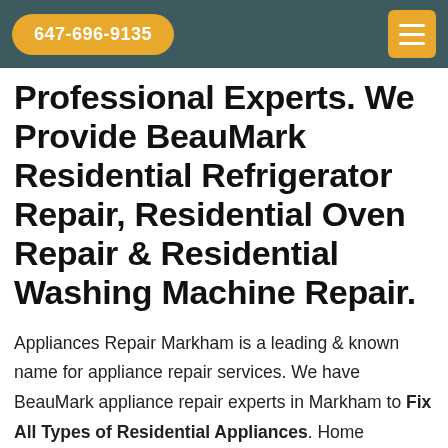647-696-9135
Professional Experts. We Provide BeauMark Residential Refrigerator Repair, Residential Oven Repair & Residential Washing Machine Repair.
Appliances Repair Markham is a leading & known name for appliance repair services. We have BeauMark appliance repair experts in Markham to Fix All Types of Residential Appliances. Home appliances have become a necessity in our lives. Residential appliances provide us extreme co...